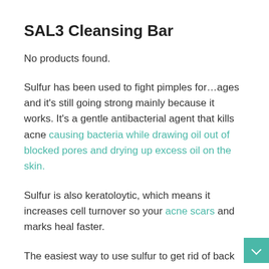SAL3 Cleansing Bar
No products found.
Sulfur has been used to fight pimples for…ages and it's still going strong mainly because it works. It's a gentle antibacterial agent that kills acne causing bacteria while drawing oil out of blocked pores and drying up excess oil on the skin.
Sulfur is also keratoloytic, which means it increases cell turnover so your acne scars and marks heal faster.
The easiest way to use sulfur to get rid of back